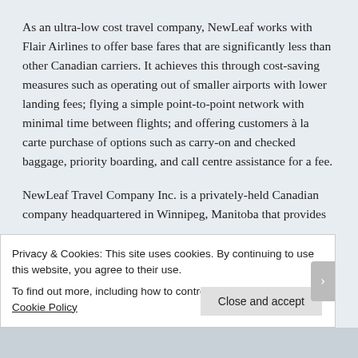As an ultra-low cost travel company, NewLeaf works with Flair Airlines to offer base fares that are significantly less than other Canadian carriers. It achieves this through cost-saving measures such as operating out of smaller airports with lower landing fees; flying a simple point-to-point network with minimal time between flights; and offering customers à la carte purchase of options such as carry-on and checked baggage, priority boarding, and call centre assistance for a fee.
NewLeaf Travel Company Inc. is a privately-held Canadian company headquartered in Winnipeg, Manitoba that provides...
Privacy & Cookies: This site uses cookies. By continuing to use this website, you agree to their use.
To find out more, including how to control cookies, see here: Cookie Policy